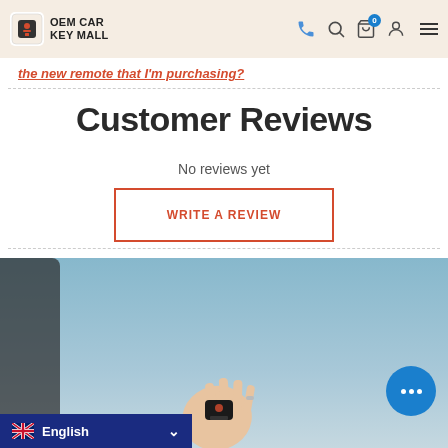OEM CAR KEY MALL
the new remote that I'm purchasing?
Customer Reviews
No reviews yet
WRITE A REVIEW
[Figure (photo): A hand holding a car key fob against a blue sky background, with a car visible on the left.]
English